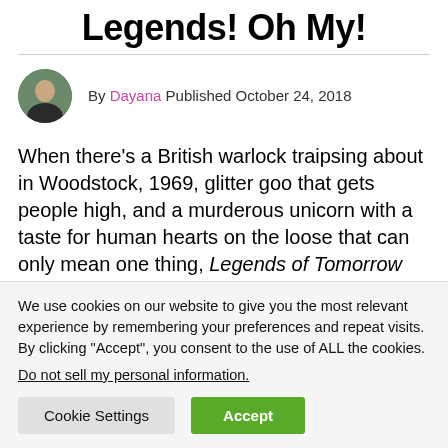Legends! Oh My!
By Dayana Published October 24, 2018
When there’s a British warlock traipsing about in Woodstock, 1969, glitter goo that gets people high, and a murderous unicorn with a taste for human hearts on the loose that can only mean one thing, Legends of Tomorrow
We use cookies on our website to give you the most relevant experience by remembering your preferences and repeat visits. By clicking “Accept”, you consent to the use of ALL the cookies.
Do not sell my personal information.